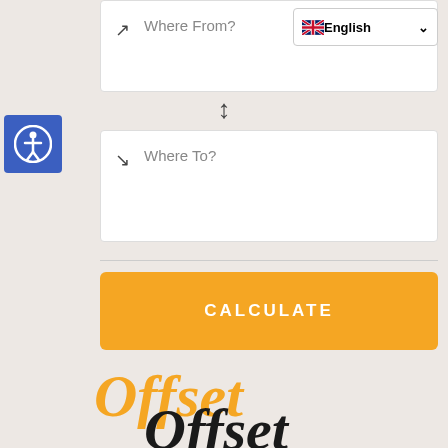[Figure (screenshot): Language selector dropdown showing UK flag and 'English' with a chevron]
[Figure (screenshot): Where From? input field with outbound arrow icon]
[Figure (screenshot): Swap arrows (up-down) button between the two location fields]
[Figure (screenshot): Where To? input field with inbound arrow icon]
[Figure (screenshot): Accessibility icon button (blue circle with person icon)]
CALCULATE
[Figure (illustration): Decorative script text reading 'Offset Offset your trip' in orange and black overlapping brush lettering]